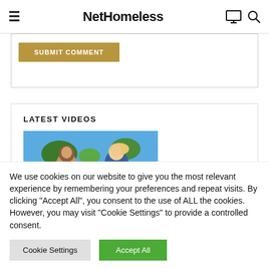NetHomeless
[Figure (screenshot): Submit Comment button (gold/tan background, white text)]
LATEST VIDEOS
[Figure (photo): Two young women outdoors smiling, blue sky and trees in background]
We use cookies on our website to give you the most relevant experience by remembering your preferences and repeat visits. By clicking "Accept All", you consent to the use of ALL the cookies. However, you may visit "Cookie Settings" to provide a controlled consent.
Cookie Settings | Accept All